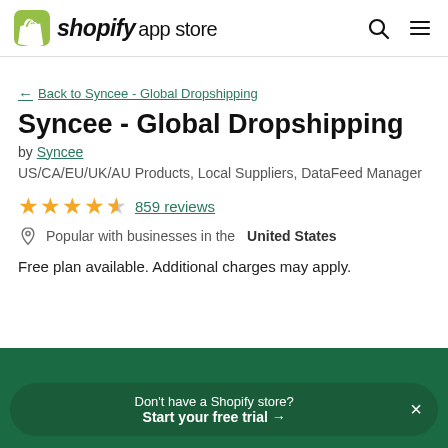shopify app store
← Back to Syncee - Global Dropshipping
Syncee - Global Dropshipping
by Syncee
US/CA/EU/UK/AU Products, Local Suppliers, DataFeed Manager
★★★★½ 859 reviews
Popular with businesses in the United States
Free plan available. Additional charges may apply.
Don't have a Shopify store? Start your free trial →